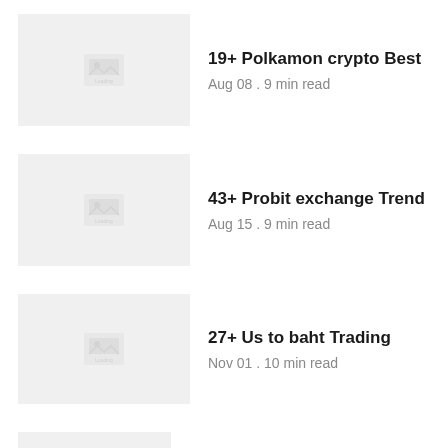19+ Polkamon crypto Best
Aug 08 . 9 min read
43+ Probit exchange Trend
Aug 15 . 9 min read
27+ Us to baht Trading
Nov 01 . 10 min read
18+ Best crypto to buy right now Mining
Sep 08 . 9 min read
50++ Apple token binance Bitcoin